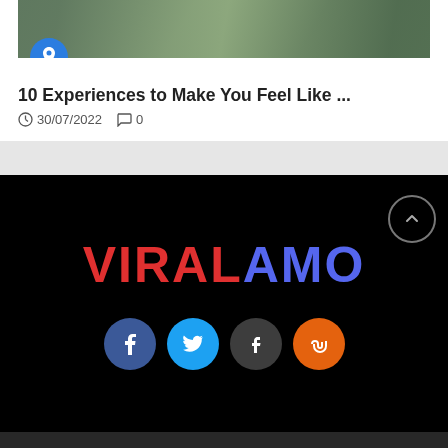[Figure (photo): Partial nature/landscape photo at top of card]
10 Experiences to Make You Feel Like ...
30/07/2022  0
[Figure (logo): VIRALAMO logo in red and blue on black background with social media icons (Facebook, Twitter, Tumblr, StumbleUpon) and a scroll-to-top button]